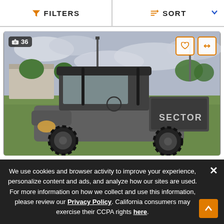FILTERS  SORT
[Figure (photo): A side-profile photo of a gray/silver Hisun Sector UTV (utility task vehicle) parked on a grass field with cloudy sky and buildings in the background. Photo badge shows 36 photos. Heart and compare icons overlay top right.]
We use cookies and browser activity to improve your experience, personalize content and ads, and analyze how our sites are used. For more information on how we collect and use this information, please review our Privacy Policy. California consumers may exercise their CCPA rights here.